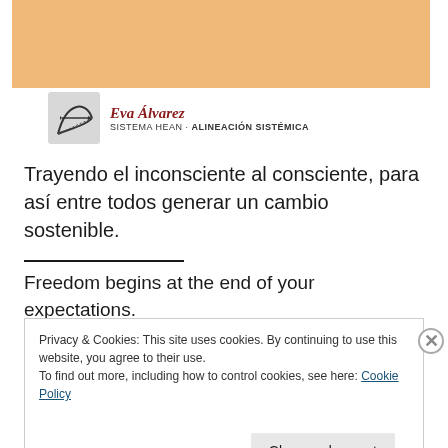[Figure (other): Orange/tan colored banner image at the top of the page]
[Figure (logo): Eva Álvarez logo: bow-and-arrow icon with text 'Eva Álvarez' in dark red italic serif, subtitle 'SISTEMA HEAN · ALINEACIÓN SISTÉMICA' in small caps]
Trayendo el inconsciente al consciente, para así entre todos generar un cambio sostenible.
Freedom begins at the end of your expectations.
Privacy & Cookies: This site uses cookies. By continuing to use this website, you agree to their use.
To find out more, including how to control cookies, see here: Cookie Policy